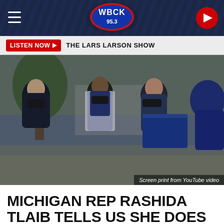WBCK 95.3
LISTEN NOW ▶  THE LARS LARSON SHOW
[Figure (screenshot): Video screenshot showing several people wearing face masks standing outdoors, apparently in conversation. One person holds a blue folder. Caption reads 'Screen print from YouTube video'.]
Screen print from YouTube video
MICHIGAN REP RASHIDA TLAIB TELLS US SHE DOES NOT BELIEVE